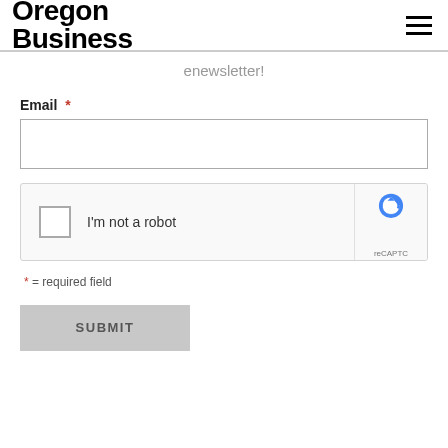Oregon Business
enewsletter!
Email *
I'm not a robot  reCAPTC  Privacy · T
* = required field
SUBMIT